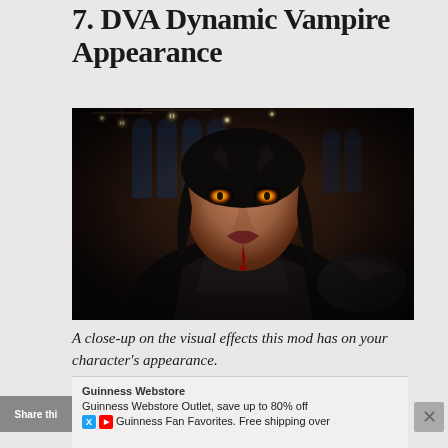7. DVA Dynamic Vampire Appearance
[Figure (photo): A close-up screenshot of a female vampire character from a video game, with glowing yellow eyes, dark hair, blood dripping from her mouth, wearing dark armor, in a gothic interior setting with chandeliers.]
A close-up on the visual effects this mod has on your character's appearance.
Guinness Webstore
Guinness Webstore Outlet, save up to 80% off Guinness Fan Favorites. Free shipping over